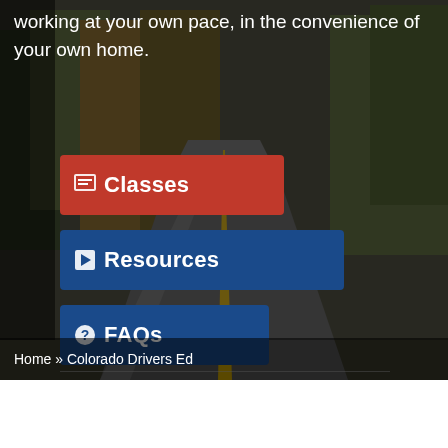[Figure (photo): Background photo of a two-lane road with yellow center lines, lined by autumn and snow-covered trees. A dark semi-transparent overlay panel covers the top portion.]
working at your own pace, in the convenience of your own home.
Classes
Resources
FAQs
Home » Colorado Drivers Ed